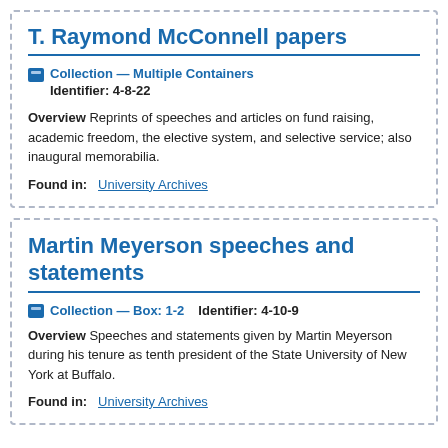T. Raymond McConnell papers
Collection — Multiple Containers
Identifier: 4-8-22
Overview Reprints of speeches and articles on fund raising, academic freedom, the elective system, and selective service; also inaugural memorabilia.
Found in: University Archives
Martin Meyerson speeches and statements
Collection — Box: 1-2  Identifier: 4-10-9
Overview Speeches and statements given by Martin Meyerson during his tenure as tenth president of the State University of New York at Buffalo.
Found in: University Archives